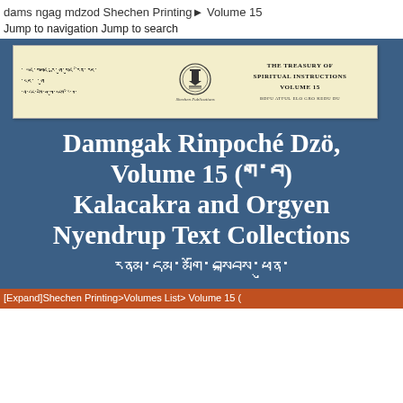dams ngag mdzod Shechen Printing ▶ Volume 15
Jump to navigation Jump to search
[Figure (photo): Scanned book cover of 'The Treasury of Spiritual Instructions, Volume 15' published by Shechen Publications, with Tibetan script on the left and a circular seal/logo in the center.]
Damngak Rinpoché Dzö, Volume 15 (གྲུབ) Kalacakra and Orgyen Nyendrup Text Collections
དུས་འཁོར་རྣང་འདྲེན་ལྔ་སྐྱབས་མི་ར་ཕྱན་
[Expand]Shechen Printing>Volumes List> Volume 15 (